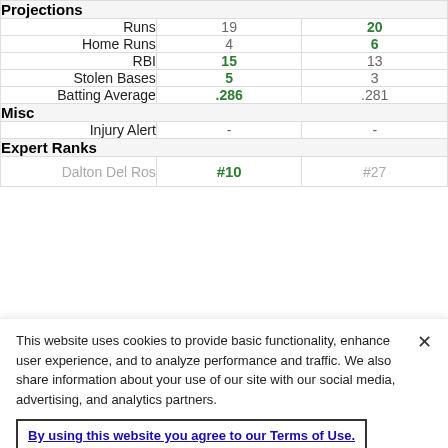|  | Col1 | Col2 |
| --- | --- | --- |
| Projections |  |  |
| Runs | 19 | 20 |
| Home Runs | 4 | 6 |
| RBI | 15 | 13 |
| Stolen Bases | 5 | 3 |
| Batting Average | .286 | .281 |
| Misc |  |  |
| Injury Alert | - | - |
| Expert Ranks |  |  |
| Dalton Del Ros... | #10 | #27 |
This website uses cookies to provide basic functionality, enhance user experience, and to analyze performance and traffic. We also share information about your use of our site with our social media, advertising, and analytics partners.
By using this website you agree to our Terms of Use.
Do Not Sell My Personal Information
Accept Cookies